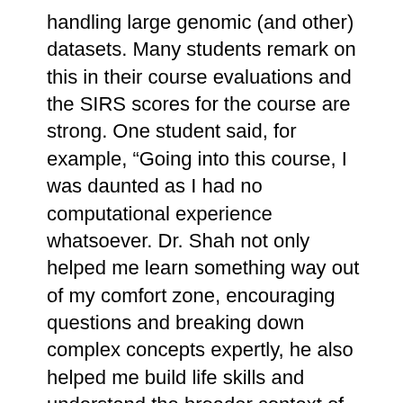handling large genomic (and other) datasets. Many students remark on this in their course evaluations and the SIRS scores for the course are strong. One student said, for example, “Going into this course, I was daunted as I had no computational experience whatsoever. Dr. Shah not only helped me learn something way out of my comfort zone, encouraging questions and breaking down complex concepts expertly, he also helped me build life skills and understand the broader context of what we were doing. Definitely one of the best classes I have taken at Rutgers. Challenging, but so worth it.”
Professor Shah also rose to the challenge created by the pandemic-necessitated shift to remote instruction, using the disruption as an opportunity for innovation and creativity. He worked hard to ensure that students had access to the necessary computing and network resources, and meticulously pre-tested how the